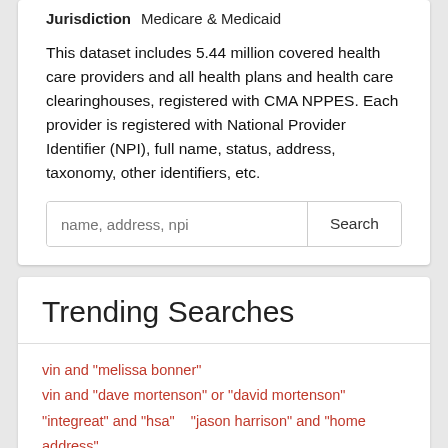Jurisdiction   Medicare & Medicaid
This dataset includes 5.44 million covered health care providers and all health plans and health care clearinghouses, registered with CMA NPPES. Each provider is registered with National Provider Identifier (NPI), full name, status, address, taxonomy, other identifiers, etc.
Trending Searches
vin and "melissa bonner"
vin and "dave mortenson" or "david mortenson"
"integreat" and "hsa"    "jason harrison" and "home address"
773071800    1111 wabash "tulsi" chicago    661031761
621960157    733810021    "athen aidx" "coverage"